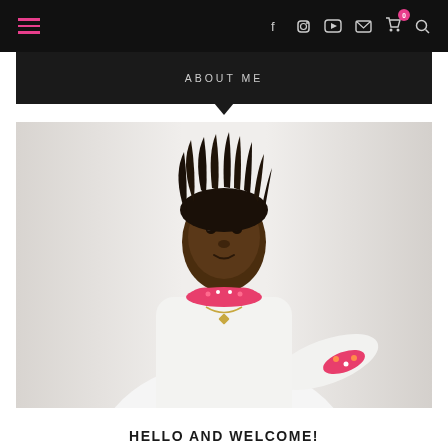Navigation bar with hamburger menu, social icons (Facebook, Instagram, YouTube, Email, Cart, Search)
ABOUT ME
[Figure (photo): Portrait photo of a woman with short dreadlocks wearing a white long-sleeve top with floral cuffs and a floral collar, standing with hand on hip against a white background.]
HELLO AND WELCOME!